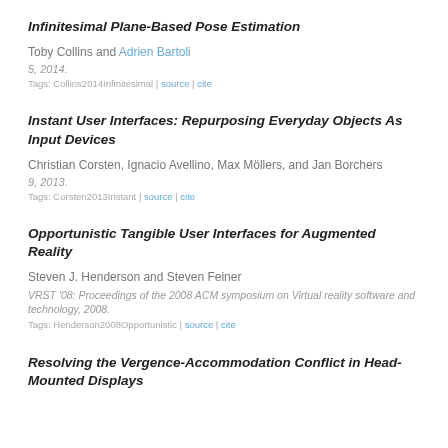Infinitesimal Plane-Based Pose Estimation
Toby Collins and Adrien Bartoli
5, 2014.
Tags: Collins2014Infinitesimal | source | cite
Instant User Interfaces: Repurposing Everyday Objects As Input Devices
Christian Corsten, Ignacio Avellino, Max Möllers, and Jan Borchers
9, 2013.
Tags: Corsten2013Instant | source | cite
Opportunistic Tangible User Interfaces for Augmented Reality
Steven J. Henderson and Steven Feiner
VRST '08: Proceedings of the 2008 ACM symposium on Virtual reality software and technology, 2008.
Tags: Henderson2008Opportunistic | source | cite
Resolving the Vergence-Accommodation Conflict in Head-Mounted Displays